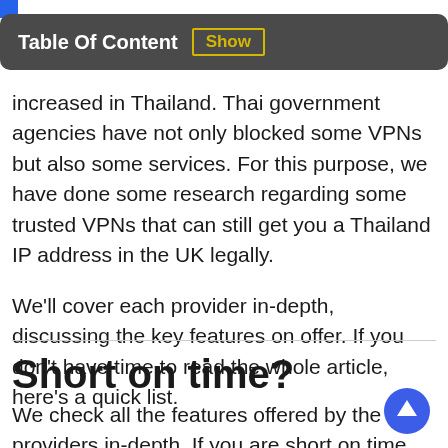Table Of Content Show
increased in Thailand. Thai government agencies have not only blocked some VPNs but also some services. For this purpose, we have done some research regarding some trusted VPNs that can still get you a Thailand IP address in the UK legally.
We’ll cover each provider in-depth, discussing the key features on offer. If you don’t have time to read the whole article, here’s a quick list.
Short on time?
We check all the features offered by the providers in-depth. If you are short on time then you can